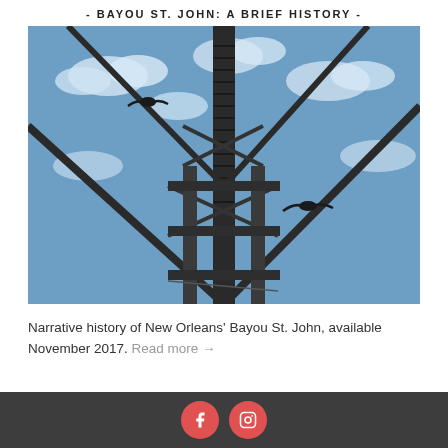- BAYOU ST. JOHN: A BRIEF HISTORY -
[Figure (photo): Photo looking up at a metal bridge or tower structure with steel beams and cables against a blue sky with white clouds; birds (seagulls or terns) in flight silhouetted against the sky]
Narrative history of New Orleans' Bayou St. John, available November 2017. Read more →
Social media icons: Facebook, Instagram